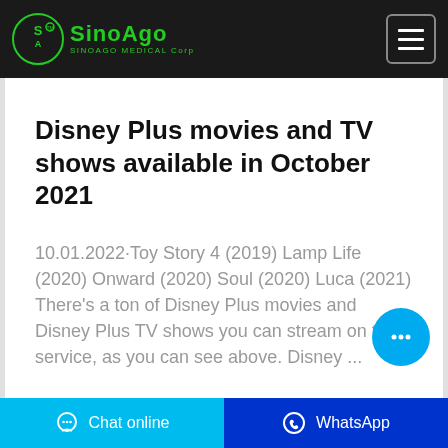SinoAgo MEDICAL Corp
Disney Plus movies and TV shows available in October 2021
10.01.2022·Toy Story 4 (2019) Lamp Life (2020) Onward (2020) Soul (2020) Luca (2021) There's a ton of Disney Plus movies and Disney Plus TV shows you can stream on the service, as you can see above. Disney ...
Chat online  WhatsApp